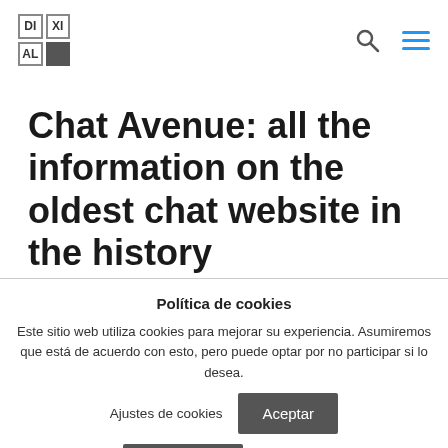[Figure (logo): DIXITAL logo — 2x2 grid of letter tiles (DI, XI, AL, black square)]
Chat Avenue: all the information on the oldest chat website in the history
Política de cookies
Este sitio web utiliza cookies para mejorar su experiencia. Asumiremos que está de acuerdo con esto, pero puede optar por no participar si lo desea.
Ajustes de cookies
Aceptar
Rechazar
Leer más